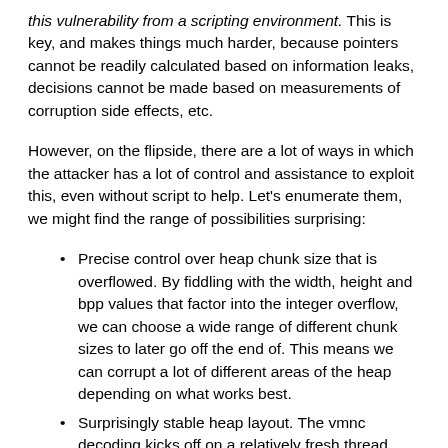this vulnerability from a scripting environment. This is key, and makes things much harder, because pointers cannot be readily calculated based on information leaks, decisions cannot be made based on measurements of corruption side effects, etc.
However, on the flipside, there are a lot of ways in which the attacker has a lot of control and assistance to exploit this, even without script to help. Let's enumerate them, we might find the range of possibilities surprising:
Precise control over heap chunk size that is overflowed. By fiddling with the width, height and bpp values that factor into the integer overflow, we can choose a wide range of different chunk sizes to later go off the end of. This means we can corrupt a lot of different areas of the heap depending on what works best.
Surprisingly stable heap layout. The vmnc decoding kicks off on a relatively fresh thread, which typically has a relatively fresh glibc per-thread malloc arena. Heap grooming may only be minimally required, if at